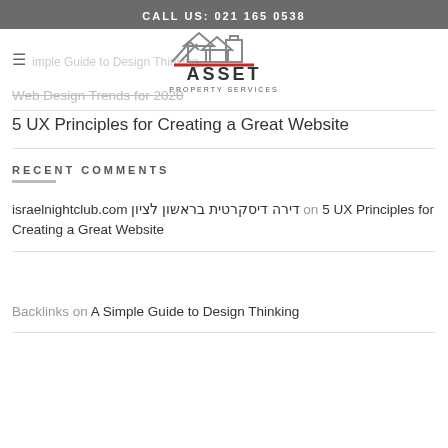CALL US: 021 165 0538
[Figure (logo): Asset Property Services logo with house/building icon and red underline]
A Simple Guide to Design Thinking
Web Design Trends for 2020
5 UX Principles for Creating a Great Website
RECENT COMMENTS
israelnightclub.com דירה דיסקרטית בראשון לציון on 5 UX Principles for Creating a Great Website
Backlinks on A Simple Guide to Design Thinking